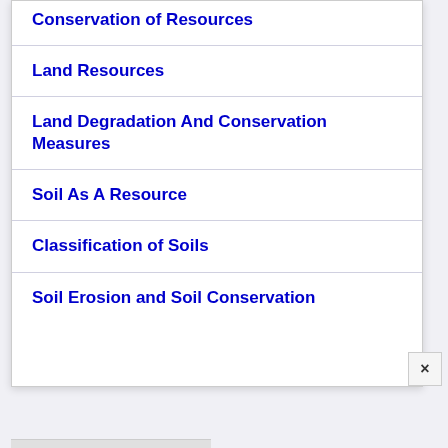Conservation of Resources
Land Resources
Land Degradation And Conservation Measures
Soil As A Resource
Classification of Soils
Soil Erosion and Soil Conservation